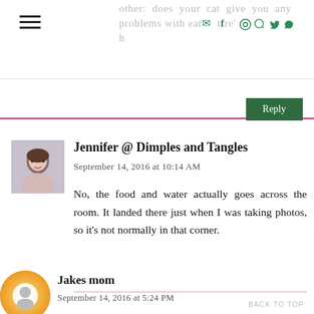other: does your cat give you any problems with eating there?
Reply
Jennifer @ Dimples and Tangles
September 14, 2016 at 10:14 AM
No, the food and water actually goes across the room. It landed there just when I was taking photos, so it's not normally in that corner.
Jakes mom
September 14, 2016 at 5:24 PM